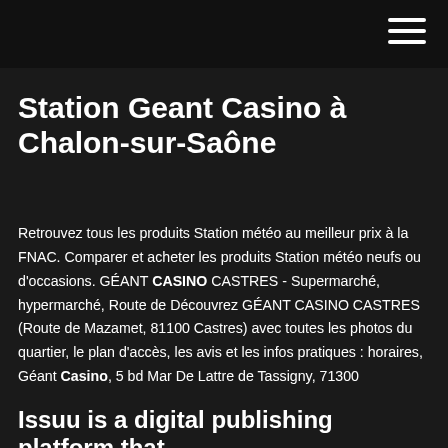them in front of Issuu's millions of monthly readers.
Station Geant Casino à Chalon-sur-Saône
Retrouvez tous les produits Station météo au meilleur prix à la FNAC. Comparer et acheter les produits Station météo neufs ou d'occasions. GÉANT CASINO CASTRES - Supermarché, hypermarché, Route de Découvrez GÉANT CASINO CASTRES (Route de Mazamet, 81100 Castres) avec toutes les photos du quartier, le plan d'accès, les avis et les infos pratiques : horaires, Géant Casino, 5 bd Mar De Lattre de Tassigny, 71300
Issuu is a digital publishing platform that